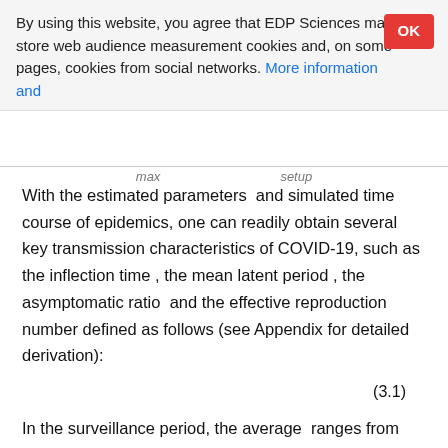By using this website, you agree that EDP Sciences may store web audience measurement cookies and, on some pages, cookies from social networks. More information and
With the estimated parameters and simulated time course of epidemics, one can readily obtain several key transmission characteristics of COVID-19, such as the inflection time , the mean latent period , the asymptomatic ratio and the effective reproduction number defined as follows (see Appendix for detailed derivation):
In the surveillance period, the average ranges from 1.74 to 3.28, and the mean latent period is relatively short in the Chinese mainland, Japan, and South Korea, while the average does not exceed ten days across the surveillance regions. Moreover, the real values of the inflection point and the